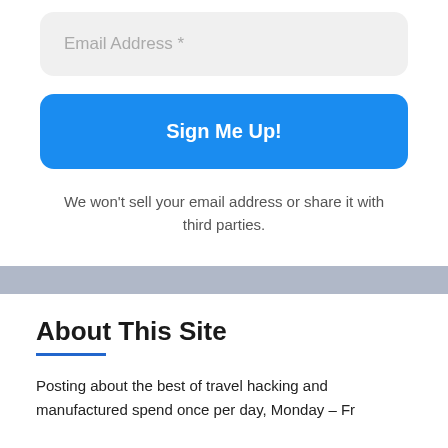Email Address *
Sign Me Up!
We won't sell your email address or share it with third parties.
About This Site
Posting about the best of travel hacking and manufactured spend once per day, Monday – Fr
You'll get the best of points and miles without a ton of